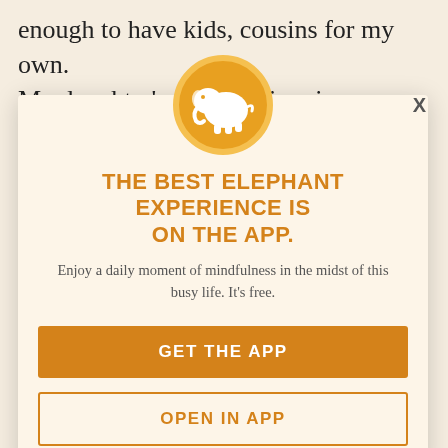enough to have kids, cousins for my own. My daughter's innocent inquiry reminded
me of the phantom nieces, but I will never have, the future aunts and nephews. While time softens the pain, it also reveals more of what has been lost. When my
[Figure (logo): White elephant icon on orange circle with lighter orange border]
THE BEST ELEPHANT EXPERIENCE IS ON THE APP.
Enjoy a daily moment of mindfulness in the midst of this busy life. It's free.
future I thought about: the dream cousins for my babies, more grandchildren for our parents, someone to sift through childhood memories with.
GET THE APP
OPEN IN APP
While our personal stories continue sunshine elephant.com